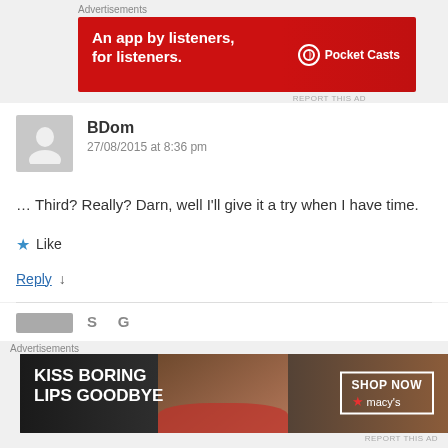Advertisements
[Figure (screenshot): Pocket Casts advertisement banner: red background with text 'An app by listeners, for listeners.' and Pocket Casts logo on the right with a phone image]
REPORT THIS AD
BDom
27/08/2015 at 8:36 pm
… Third? Really? Darn, well I'll give it a try when I have time.
★ Like
Reply ↓
Advertisements
[Figure (screenshot): Macy's advertisement banner: dark background with woman's face, text 'KISS BORING LIPS GOODBYE' and 'SHOP NOW' button with Macy's star logo]